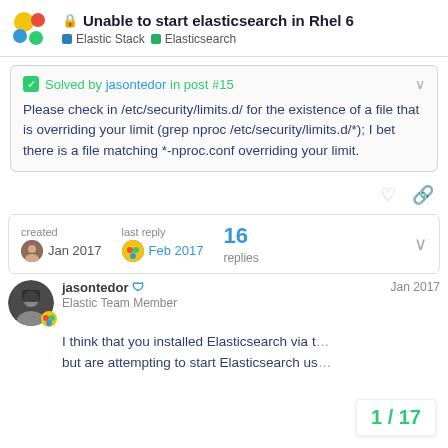Unable to start elasticsearch in Rhel 6 — Elastic Stack > Elasticsearch
Solved by jasontedor in post #15

Please check in /etc/security/limits.d/ for the existence of a file that is overriding your limit (grep nproc /etc/security/limits.d/*); I bet there is a file matching *-nproc.conf overriding your limit.
created Jan 2017   last reply Feb 2017   16 replies
jasontedor  Elastic Team Member  Jan 2017

I think that you installed Elasticsearch via t... but are attempting to start Elasticsearch us...
1 / 17